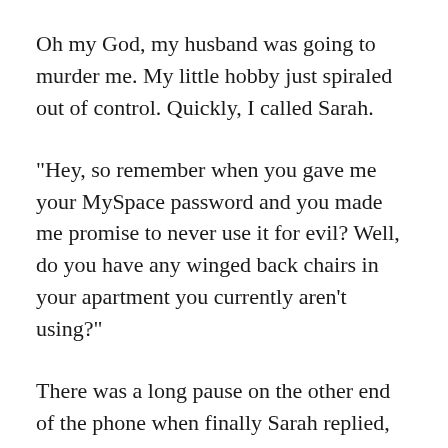Oh my God, my husband was going to murder me. My little hobby just spiraled out of control. Quickly, I called Sarah.
"Hey, so remember when you gave me your MySpace password and you made me promise to never use it for evil? Well, do you have any winged back chairs in your apartment you currently aren't using?"
There was a long pause on the other end of the phone when finally Sarah replied, "Actually, I do have one."
Holy shit! The universe was conspiring for my